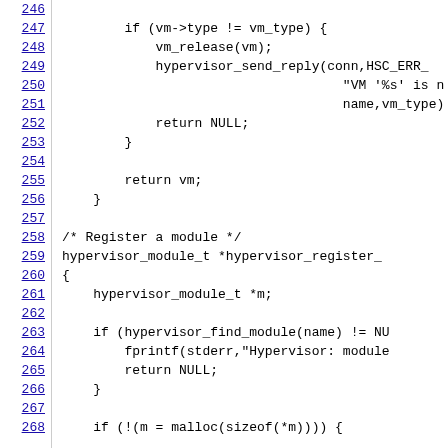Source code listing lines 246-268, showing C code for a hypervisor module with VM type checking and module registration functions.